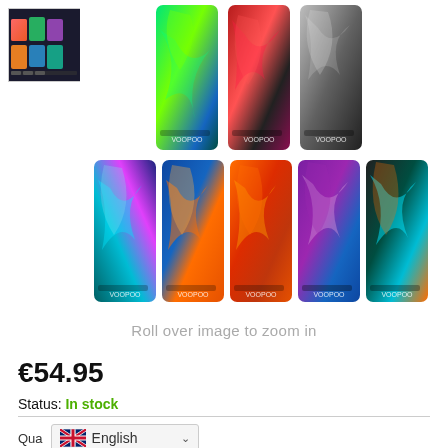[Figure (photo): Thumbnail image of multiple colorful vape device mods displayed together]
[Figure (photo): Main product image showing multiple VOOPOO vape mod devices in various colorful resin designs including green swirl, red lava, black marble, teal/pink, orange/blue flame, orange/red lava, purple swirl, and black/teal patterns]
Roll over image to zoom in
€54.95
Status: In stock
Qua
English